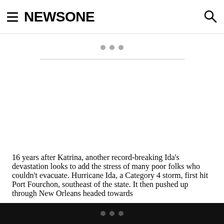NEWSONE
[Figure (other): Advertisement placeholder area with three grey dots and a horizontal divider line]
16 years after Katrina, another record-breaking Ida’s devastation looks to add the stress of many poor folks who couldn’t evacuate. Hurricane Ida, a Category 4 storm, first hit Port Fourchon, southeast of the state. It then pushed up through New Orleans headed towards
...